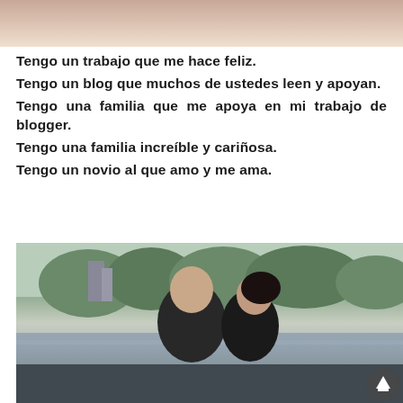[Figure (photo): Partial view of a photo at the top of the page, showing skin tones suggesting a close-up of people]
Tengo un trabajo que me hace feliz.
Tengo un blog que muchos de ustedes leen y apoyan.
Tengo una familia que me apoya en mi trabajo de blogger.
Tengo una familia increíble y cariñosa.
Tengo un novio al que amo y me ama.
[Figure (photo): A couple kissing outdoors in a park near a lake, with trees and city buildings in the background. A scroll-to-top button is visible in the bottom right corner.]